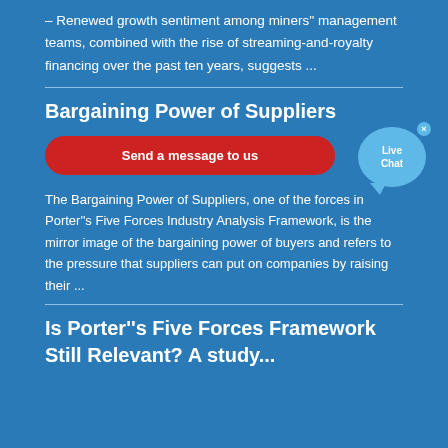– Renewed growth sentiment among miners'' management teams, combined with the rise of streaming-and-royalty financing over the past ten years, suggests ...
Bargaining Power of Suppliers
[Figure (other): Live Chat button widget with speech bubble icon and close (×) button]
Send a message to us
The Bargaining Power of Suppliers, one of the forces in Porter''s Five Forces Industry Analysis Framework, is the mirror image of the bargaining power of buyers and refers to the pressure that suppliers can put on companies by raising their ...
Is Porter''s Five Forces Framework Still Relevant? A study...